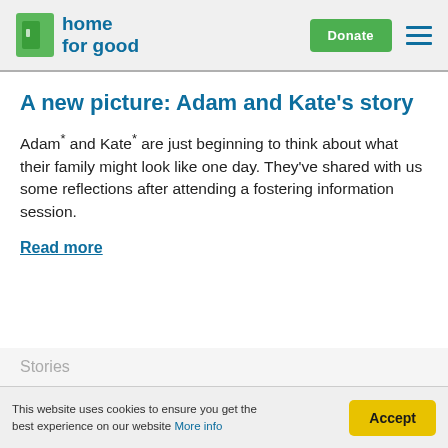[Figure (logo): Home for Good logo with green door icon and blue text reading 'home for good']
A new picture: Adam and Kate's story
Adam* and Kate* are just beginning to think about what their family might look like one day. They've shared with us some reflections after attending a fostering information session.
Read more
Stories
This website uses cookies to ensure you get the best experience on our website More info